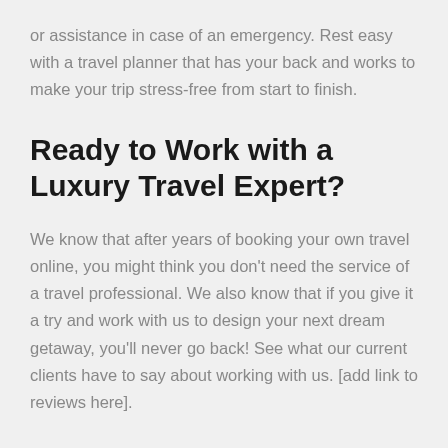or assistance in case of an emergency. Rest easy with a travel planner that has your back and works to make your trip stress-free from start to finish.
Ready to Work with a Luxury Travel Expert?
We know that after years of booking your own travel online, you might think you don't need the service of a travel professional. We also know that if you give it a try and work with us to design your next dream getaway, you'll never go back! See what our current clients have to say about working with us. [add link to reviews here].